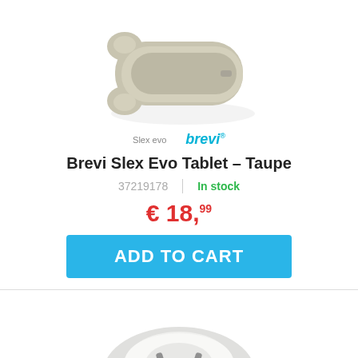[Figure (photo): Brevi Slex Evo Tablet tray in taupe/beige color, viewed from above at an angle, showing the rounded rectangular shape with ear-like protrusions on one side]
Slex evo   brevi
Brevi Slex Evo Tablet – Taupe
37219178  |  In stock
€ 18,99
ADD TO CART
[Figure (photo): White/grey round booster seat with grey harness straps and clip buckle, viewed from slightly above]